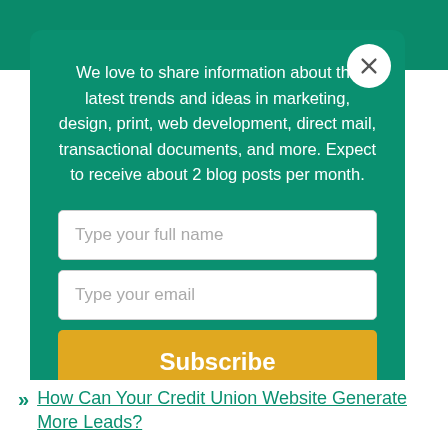[Figure (screenshot): A modal popup on a teal background with a subscription form. Contains descriptive text about blog content, two input fields (full name, email), and a yellow Subscribe button. A close (X) button appears in the top right corner of the modal.]
We love to share information about the latest trends and ideas in marketing, design, print, web development, direct mail, transactional documents, and more. Expect to receive about 2 blog posts per month.
How Can Your Credit Union Website Generate More Leads?
LKCS Launches New Website for IAA Credit Union Designed to...